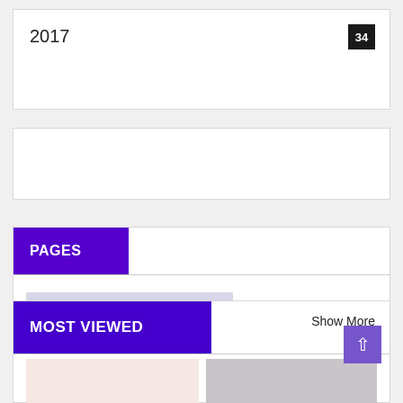2017
34
PAGES
• Home
MOST VIEWED
Show More
[Figure (photo): Left thumbnail image with pink/beige background]
[Figure (photo): Right thumbnail image with gray background showing blurred figure]